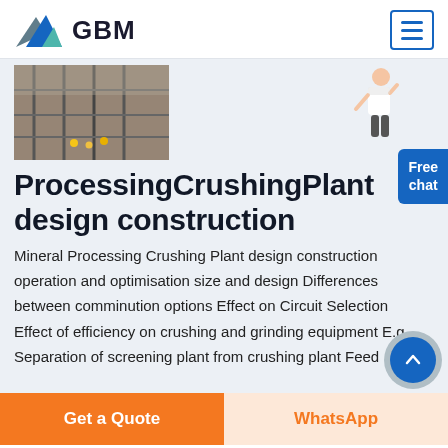GBM
[Figure (photo): Construction site photo with scaffolding and workers]
ProcessingCrushingPlant design construction
Mineral Processing Crushing Plant design construction operation and optimisation size and design Differences between comminution options Effect on Circuit Selection Effect of efficiency on crushing and grinding equipment E.g Separation of screening plant from crushing plant Feed